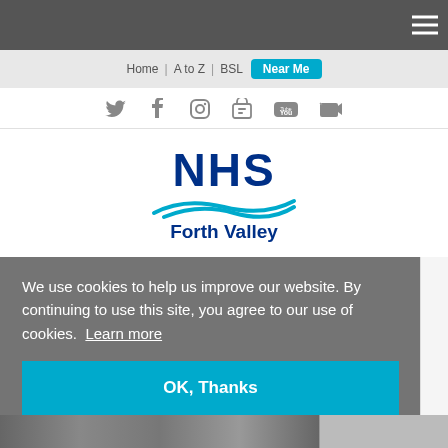Navigation bar with hamburger menu
Home | A to Z | BSL  Near Me
[Figure (screenshot): Social media icons: Twitter, Facebook, Instagram, LinkedIn, YouTube, Film/Video]
[Figure (logo): NHS Forth Valley logo with blue NHS text, teal wave design, and Forth Valley subtitle]
We use cookies to help us improve our website. By continuing to use this site, you agree to our use of cookies.  Learn more
OK, Thanks
[Figure (photo): Partially visible photo of medical/technical equipment at the bottom of the page]